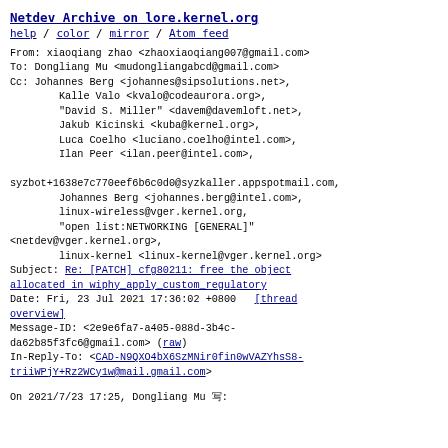Netdev Archive on lore.kernel.org
help / color / mirror / Atom feed
From: xiaoqiang zhao <zhaoxiaoqiang007@gmail.com>
To: Dongliang Mu <mudongliangabcd@gmail.com>
Cc: Johannes Berg <johannes@sipsolutions.net>,
        Kalle Valo <kvalo@codeaurora.org>,
        "David S. Miller" <davem@davemloft.net>,
        Jakub Kicinski <kuba@kernel.org>,
        Luca Coelho <luciano.coelho@intel.com>,
        Ilan Peer <ilan.peer@intel.com>,

syzbot+1638e7c770eef6b6c0d0@syzkaller.appspotmail.com,
        Johannes Berg <johannes.berg@intel.com>,
        linux-wireless@vger.kernel.org,
        "open list:NETWORKING [GENERAL]"
<netdev@vger.kernel.org>,
        linux-kernel <linux-kernel@vger.kernel.org>
Subject: Re: [PATCH] cfg80211: free the object allocated in wiphy_apply_custom_regulatory
Date: Fri, 23 Jul 2021 17:36:02 +0800    [thread overview]
Message-ID: <2e9e6fa7-a405-088d-3b4c-da62b85f3fc6@gmail.com> (raw)
In-Reply-To: <CAD-N9QXO4bX6SzMNir0fin0wVAZYhsS8-triiWPjY+Rz2WCy1w@mail.gmail.com>
On 2021/7/23 17:25, Dongliang Mu 写: